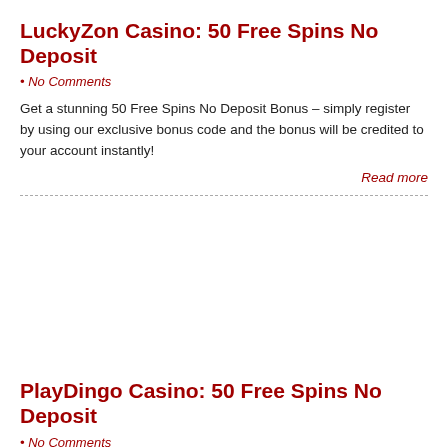LuckyZon Casino: 50 Free Spins No Deposit
• No Comments
Get a stunning 50 Free Spins No Deposit Bonus – simply register by using our exclusive bonus code and the bonus will be credited to your account instantly!
Read more
PlayDingo Casino: 50 Free Spins No Deposit
• No Comments
Get the taste of PlayDingo Casino by claiming 50 Free Spins No Deposit Bonus – sign up by using our exclusive bonus code and